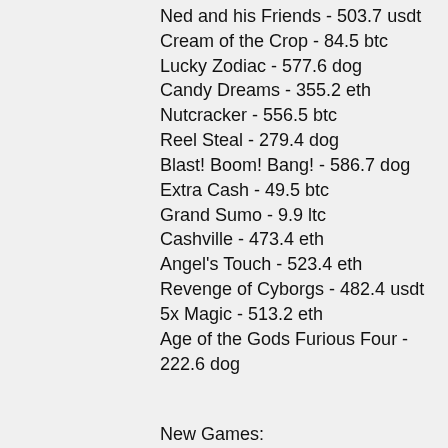Ned and his Friends - 503.7 usdt
Cream of the Crop - 84.5 btc
Lucky Zodiac - 577.6 dog
Candy Dreams - 355.2 eth
Nutcracker - 556.5 btc
Reel Steal - 279.4 dog
Blast! Boom! Bang! - 586.7 dog
Extra Cash - 49.5 btc
Grand Sumo - 9.9 ltc
Cashville - 473.4 eth
Angel's Touch - 523.4 eth
Revenge of Cyborgs - 482.4 usdt
5x Magic - 513.2 eth
Age of the Gods Furious Four - 222.6 dog
New Games:
King Billy Casino Aura of Jupiter moorhuhn Shooter
BitcoinCasino.us Diggin' Deep
BitcoinCasino.us Journey To The West